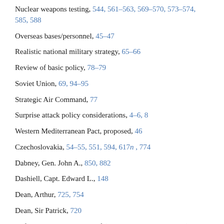Nuclear weapons testing, 544, 561–563, 569–570, 573–574, 585, 588
Overseas bases/personnel, 45–47
Realistic national military strategy, 65–66
Review of basic policy, 78–79
Soviet Union, 69, 94–95
Strategic Air Command, 77
Surprise attack policy considerations, 4–6, 8
Western Mediterranean Pact, proposed, 46
Czechoslovakia, 54–55, 551, 594, 617n, 774
Dabney, Gen. John A., 850, 882
Dashiell, Capt. Edward L., 148
Dean, Arthur, 725, 754
Dean, Sir Patrick, 720
Defense, U.S. Department of (see also McElroy, Neil H.), 258n, 544–545